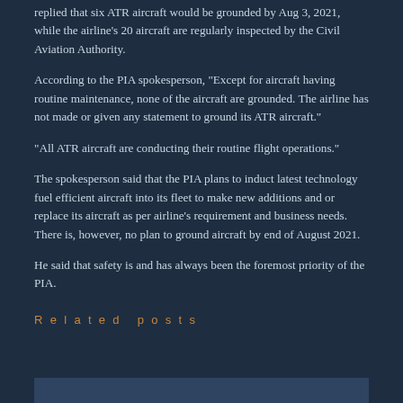replied that six ATR aircraft would be grounded by Aug 3, 2021, while the airline's 20 aircraft are regularly inspected by the Civil Aviation Authority.
According to the PIA spokesperson, “Except for aircraft having routine maintenance, none of the aircraft are grounded. The airline has not made or given any statement to ground its ATR aircraft.”
“All ATR aircraft are conducting their routine flight operations.”
The spokesperson said that the PIA plans to induct latest technology fuel efficient aircraft into its fleet to make new additions and or replace its aircraft as per airline’s requirement and business needs. There is, however, no plan to ground aircraft by end of August 2021.
He said that safety is and has always been the foremost priority of the PIA.
Related posts